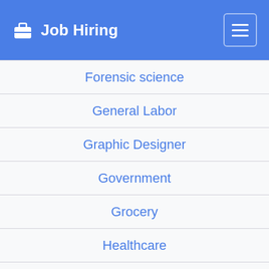Job Hiring
Forensic science
General Labor
Graphic Designer
Government
Grocery
Healthcare
Hospitality
HVAC
Human Resources